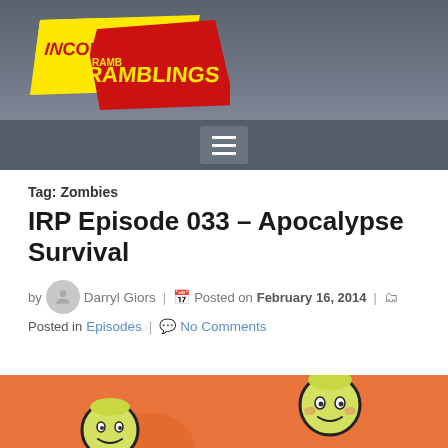[Figure (logo): Incoherent Ramblings logo — yellow and red angular banner shapes with bold text: INCOHERENT RAMBLINGS]
[Figure (other): Navigation bar with hamburger menu icon (three horizontal white lines on gray square button)]
Tag: Zombies
IRP Episode 033 – Apocalypse Survival
by Darryl Giors | Posted on February 16, 2014 |
Posted in Episodes | No Comments
[Figure (illustration): Cartoon-style illustration on orange background showing animated characters (Fallout Vault Boy style figures)]